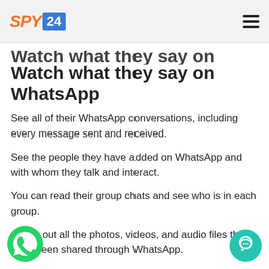SPY24 [logo] | hamburger menu
Watch what they say on WhatsApp
See all of their WhatsApp conversations, including every message sent and received.
See the people they have added on WhatsApp and with whom they talk and interact.
You can read their group chats and see who is in each group.
Check out all the photos, videos, and audio files that have been shared through WhatsApp.
See the contact's picture to find out who they are